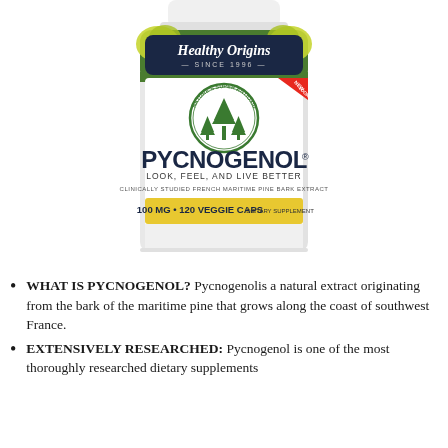[Figure (photo): Product photo of Healthy Origins Pycnogenol supplement bottle, 100mg, 120 Veggie Caps. Label shows 'Healthy Origins SINCE 1996', circular emblem with trees reading 'NATURE'S SUPER ANTIOXIDANT', product name PYCNOGENOL, tagline 'LOOK, FEEL, AND LIVE BETTER', 'CLINICALLY STUDIED FRENCH MARITIME PINE BARK EXTRACT', yellow band showing '100 MG • 120 VEGGIE CAPS DIETARY SUPPLEMENT'. Red 'NEW LOOK' badge in corner.]
WHAT IS PYCNOGENOL? Pycnogenolis a natural extract originating from the bark of the maritime pine that grows along the coast of southwest France.
EXTENSIVELY RESEARCHED: Pycnogenol is one of the most thoroughly researched dietary supplements